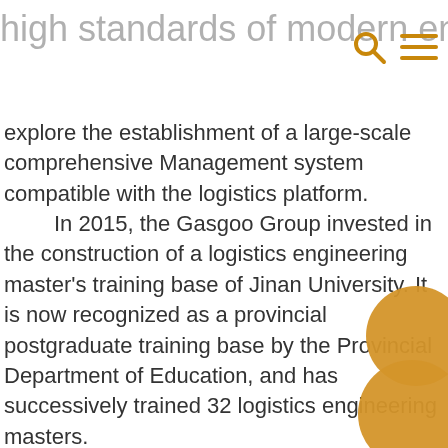high standards of modern enterprise management, and to cultivate talents with standardized and personalized services from both
explore the establishment of a large-scale comprehensive Management system compatible with the logistics platform.

In 2015, the Gasgoo Group invested in the construction of a logistics engineering master's training base of Jinan University. It is now recognized as a provincial postgraduate training base by the Provincial Department of Education, and has successively trained 32 logistics engineering masters.

In 2017, in response to the call of the Jinan Municipal Government, it introduced a high-level innovative and entrepreneurial talent from home and abroad to further enrich the group's logistics technology research and development team.